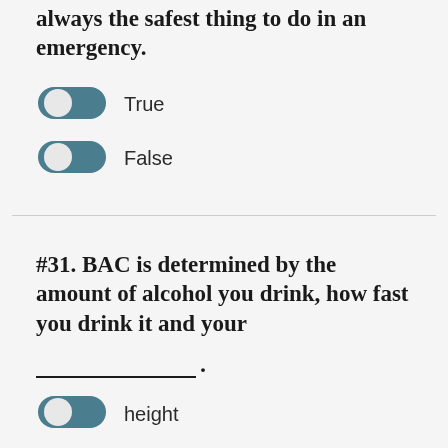always the safest thing to do in an emergency.
True
False
#31. BAC is determined by the amount of alcohol you drink, how fast you drink it and your ___________.
height
weight